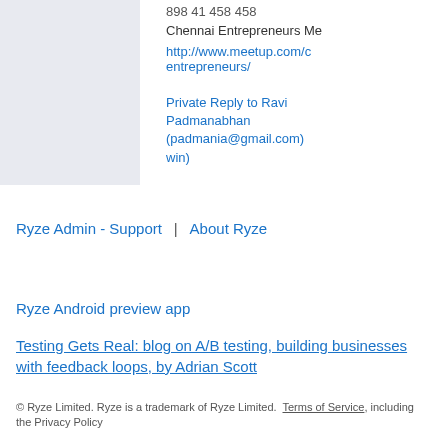898 41 458 458
Chennai Entrepreneurs Me
http://www.meetup.com/c entrepreneurs/
Private Reply to Ravi Padmanabhan (padmania@gmail.com) win)
Ryze Admin - Support | About Ryze
Ryze Android preview app
Testing Gets Real: blog on A/B testing, building businesses with feedback loops, by Adrian Scott
© Ryze Limited. Ryze is a trademark of Ryze Limited. Terms of Service, including the Privacy Policy